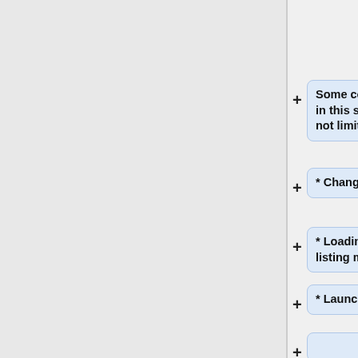will be run in the job. <br>
Some commands that may go in this section include, but are not limited to:
* Changing directories
* Loading, unloading, and listing modules
* Launching software
An example of a possible executable